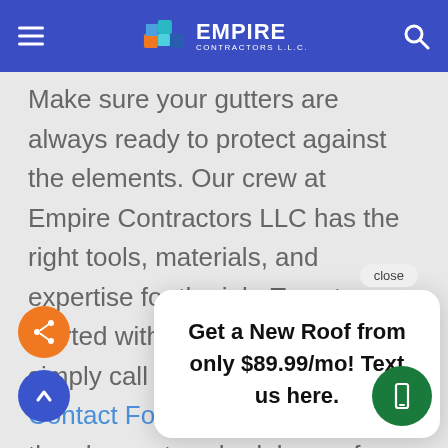[Figure (logo): Empire Contractors LLC logo with colorful block icon and white text on blue header bar]
Make sure your gutters are always ready to protect against the elements. Our crew at Empire Contractors LLC has the right tools, materials, and expertise for the job. To get started with your gutter repair, simply call us at (513) 2... or Contact Form. We'll be more than happy to schedule you for a FREE, in-home estimate.
Get a New Roof from only $89.99/mo! Text us here.